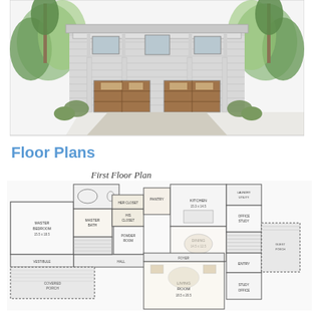[Figure (illustration): Architectural rendering of a two-story coastal-style house with two garage doors, balconies, columns, surrounded by trees and landscaping.]
Floor Plans
First Floor Plan
[Figure (engineering-diagram): First Floor Plan architectural drawing showing rooms including Master Bedroom, Master Bath, Her Closet, His Closet, Pantry, Kitchen, Dining, Living Room, Foyer/Entry, Powder Room, Hall, Vestibule, Office/Study, Guest Porch, Laundry, and Garage/Covered areas.]